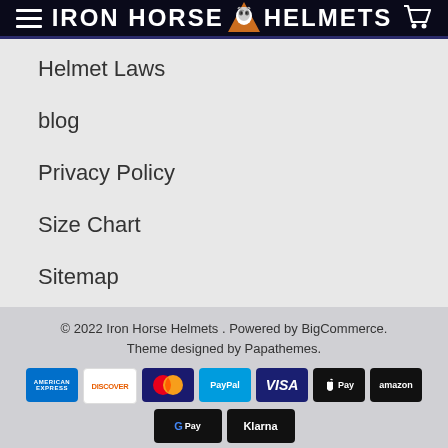Iron Horse Helmets
Helmet Laws
blog
Privacy Policy
Size Chart
Sitemap
© 2022 Iron Horse Helmets . Powered by BigCommerce. Theme designed by Papathemes.